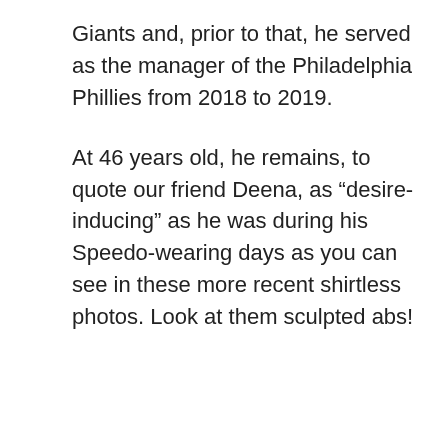Giants and, prior to that, he served as the manager of the Philadelphia Phillies from 2018 to 2019.
At 46 years old, he remains, to quote our friend Deena, as “desire-inducing” as he was during his Speedo-wearing days as you can see in these more recent shirtless photos. Look at them sculpted abs!